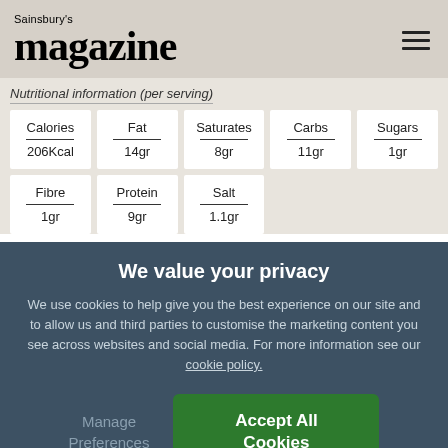Sainsbury's magazine
Nutritional information (per serving)
| Calories | Fat | Saturates | Carbs | Sugars |
| --- | --- | --- | --- | --- |
| 206Kcal | 14gr | 8gr | 11gr | 1gr |
| Fibre | Protein | Salt |
| --- | --- | --- |
| 1gr | 9gr | 1.1gr |
We value your privacy
We use cookies to help give you the best experience on our site and to allow us and third parties to customise the marketing content you see across websites and social media. For more information see our cookie policy.